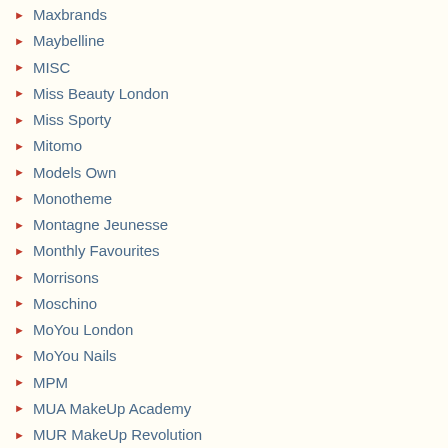Maxbrands
Maybelline
MISC
Miss Beauty London
Miss Sporty
Mitomo
Models Own
Monotheme
Montagne Jeunesse
Monthly Favourites
Morrisons
Moschino
MoYou London
MoYou Nails
MPM
MUA MakeUp Academy
MUR MakeUp Revolution
My Little Pony
Nail Art
Nail Art Challenges